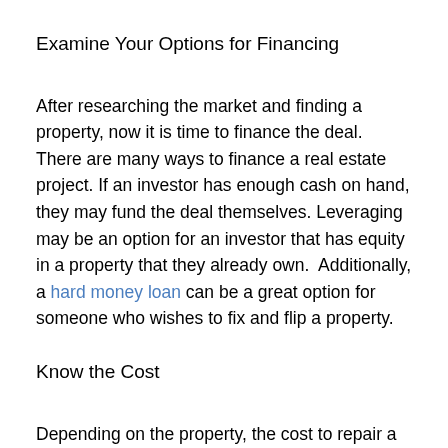Examine Your Options for Financing
After researching the market and finding a property, now it is time to finance the deal. There are many ways to finance a real estate project. If an investor has enough cash on hand, they may fund the deal themselves. Leveraging may be an option for an investor that has equity in a property that they already own.  Additionally, a hard money loan can be a great option for someone who wishes to fix and flip a property.
Know the Cost
Depending on the property, the cost to repair a home for reselling can rise very quickly. One key factor to success can be knowing what repairs and